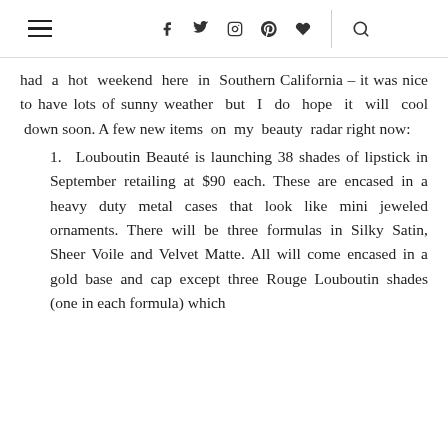≡  f  𝕿  ⊙  ℗  ♥  |  🔍
had a hot weekend here in Southern California – it was nice to have lots of sunny weather but I do hope it will cool down soon. A few new items on my beauty radar right now:
1. Louboutin Beauté is launching 38 shades of lipstick in September retailing at $90 each. These are encased in a heavy duty metal cases that look like mini jeweled ornaments. There will be three formulas in Silky Satin, Sheer Voile and Velvet Matte. All will come encased in a gold base and cap except three Rouge Louboutin shades (one in each formula) which